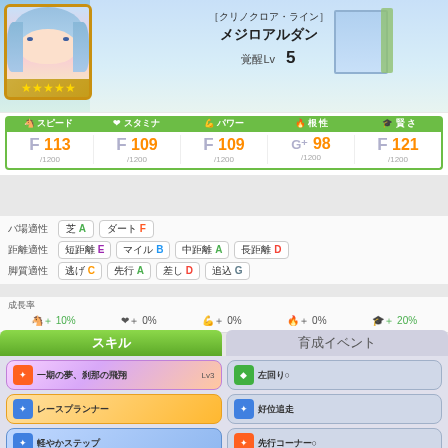[Figure (screenshot): Character profile screen from Uma Musume Pretty Derby game showing メジロアルダン with [クリノクロア・ライン] title, 5 stars, 覚醒Lv 5]
| スピード | スタミナ | パワー | 根性 | 賢さ |
| --- | --- | --- | --- | --- |
| F 113 /1200 | F 109 /1200 | F 109 /1200 | G+ 98 /1200 | F 121 /1200 |
バ場適性: 芝 A, ダート F
距離適性: 短距離 E, マイル B, 中距離 A, 長距離 D
脚質適性: 逃げ C, 先行 A, 差し D, 追込 G
成長率: +10%, ♥+0%, 筋+0%, 🔥+0%, 🎓+20%
スキル
育成イベント
一期の夢、刹那の飛翔 Lv3
左回り○
レースプランナー
好位追走
軽やかステップ
先行コーナー○